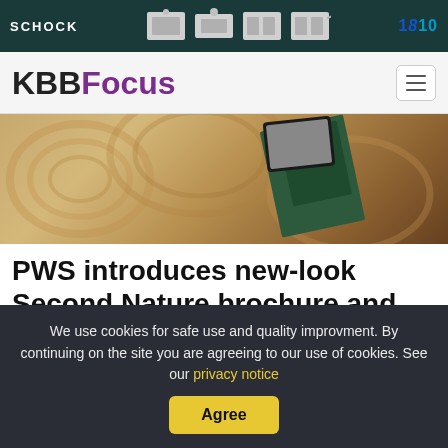[Figure (illustration): Schock brand advertisement banner showing kitchen sinks and 1810 company logo on a dark teal background]
KBBFocus
[Figure (photo): Hero image showing a wooden surface with a kitchen brochure and tablet]
PWS introduces new-look Second Nature brochure and website
Kitchens
News
Thu 18th Aug 2022
We use cookies for safe use and quality improvment. By continuing on the site you are agreeing to our use of cookies. See our privacy notice